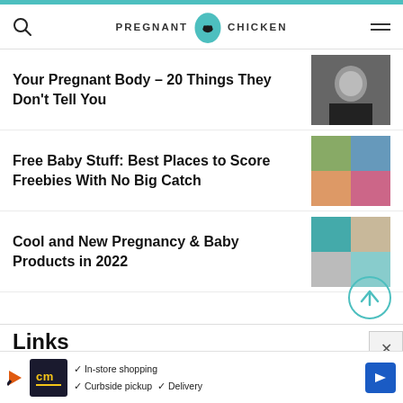PREGNANT CHICKEN
Your Pregnant Body – 20 Things They Don't Tell You
Free Baby Stuff: Best Places to Score Freebies With No Big Catch
Cool and New Pregnancy & Baby Products in 2022
Links
About
Contact
In-store shopping  ✓ Curbside pickup  ✓ Delivery